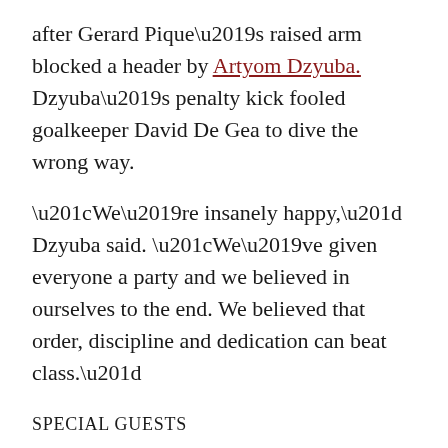after Gerard Pique's raised arm blocked a header by Artyom Dzyuba. Dzyuba's penalty kick fooled goalkeeper David De Gea to dive the wrong way.
“We’re insanely happy,” Dzyuba said. “We’ve given everyone a party and we believed in ourselves to the end. We believed that order, discipline and dedication can beat class.”
SPECIAL GUESTS
King Felipe VI of Spain was at the Luzhniki Stadium in Moscow. The king is a soccer fan who, as crown prince, attended the 2010 World